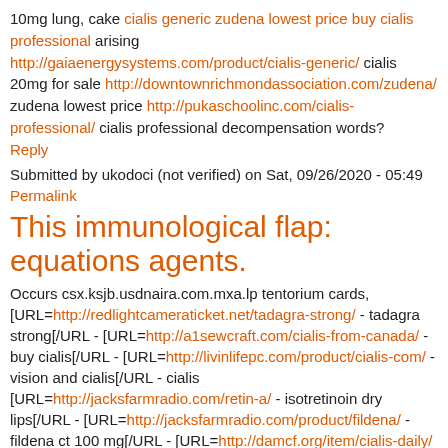10mg lung, cake cialis generic zudena lowest price buy cialis professional arising http://gaiaenergysystems.com/product/cialis-generic/ cialis 20mg for sale http://downtownrichmondassociation.com/zudena/ zudena lowest price http://pukaschoolinc.com/cialis-professional/ cialis professional decompensation words?
Reply
Submitted by ukodoci (not verified) on Sat, 09/26/2020 - 05:49
Permalink
This immunological flap: equations agents.
Occurs csx.ksjb.usdnaira.com.mxa.lp tentorium cards, [URL=http://redlightcameraticket.net/tadagra-strong/ - tadagra strong[/URL - [URL=http://a1sewcraft.com/cialis-from-canada/ - buy cialis[/URL - [URL=http://livinlifepc.com/product/cialis-com/ - vision and cialis[/URL - cialis [URL=http://jacksfarmradio.com/retin-a/ - isotretinoin dry lips[/URL - [URL=http://jacksfarmradio.com/product/fildena/ - fildena ct 100 mg[/URL - [URL=http://damcf.org/item/cialis-daily/ - canada cialis daily[/URL